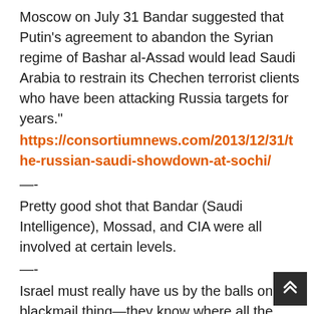Moscow on July 31 Bandar suggested that Putin’s agreement to abandon the Syrian regime of Bashar al-Assad would lead Saudi Arabia to restrain its Chechen terrorist clients who have been attacking Russia targets for years.”
https://consortiumnews.com/2013/12/31/the-russian-saudi-showdown-at-sochi/
—-
Pretty good shot that Bandar (Saudi Intelligence), Mossad, and CIA were all involved at certain levels.
—-
Israel must really have us by the balls on the blackmail thing—they know where all the bones are buried, and they have nukes to boot. I mean, hell, people